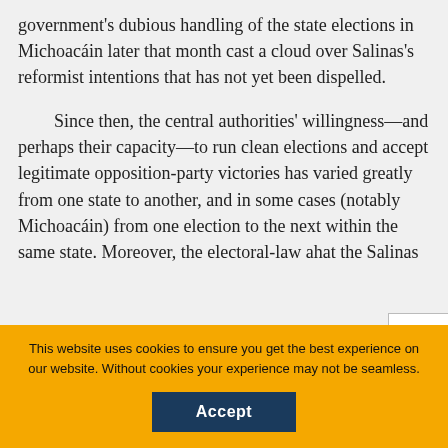government's dubious handling of the state elections in Michoacáin later that month cast a cloud over Salinas's reformist intentions that has not yet been dispelled.
Since then, the central authorities' willingness—and perhaps their capacity—to run clean elections and accept legitimate opposition-party victories has varied greatly from one state to another, and in some cases (notably Michoacáin) from one election to the next within the same state. Moreover, the electoral-law a[…] hat the Salinas
collapse
You are not currently authenticated. If you would like to authenticate using a different subscribed institution or
This website uses cookies to ensure you get the best experience on our website. Without cookies your experience may not be seamless.
Accept